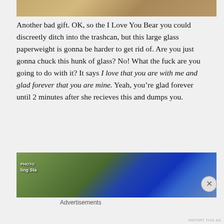[Figure (photo): Partial image at top, brownish/golden decorative object]
Another bad gift. OK, so the I Love You Bear you could discreetly ditch into the trashcan, but this large glass paperweight is gonna be harder to get rid of. Are you just gonna chuck this hunk of glass? No! What the fuck are you going to do with it? It says I love that you are with me and glad forever that you are mine. Yeah, you’re glad forever until 2 minutes after she recieves this and dumps you.
[Figure (photo): Bottom image showing blue helmet or object with red decorations, appears to be some kind of sports or costume gear]
Advertisements